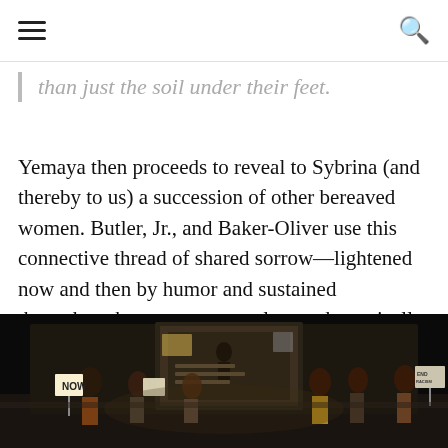≡  🔍
than just the soil under their feet.
Yemaya then proceeds to reveal to Sybrina (and thereby to us) a succession of other bereaved women. Butler, Jr., and Baker-Oliver use this connective thread of shared sorrow—lightened now and then by humor and sustained throughout by gorgeous vocals—to thematically link the entire show.
[Figure (photo): Theater stage scene with performers holding protest signs including 'NOW', 'END RACISM', and a projection screen in the background showing historical civil rights imagery.]